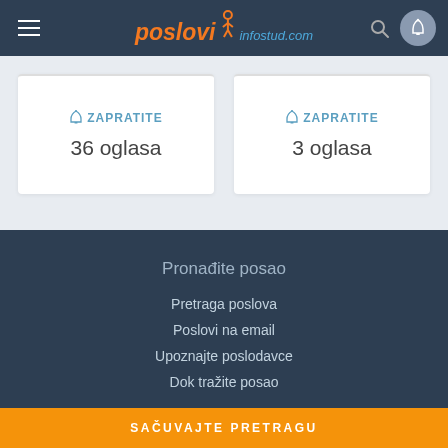[Figure (screenshot): Poslovi Infostud website header with logo, hamburger menu, search icon, and bell icon on dark navy background]
ZAPRATITE
36 oglasa
ZAPRATITE
3 oglasa
Pronađite posao
Pretraga poslova
Poslovi na email
Upoznajte poslodavce
Dok tražite posao
SAČUVAJTE PRETRAGU